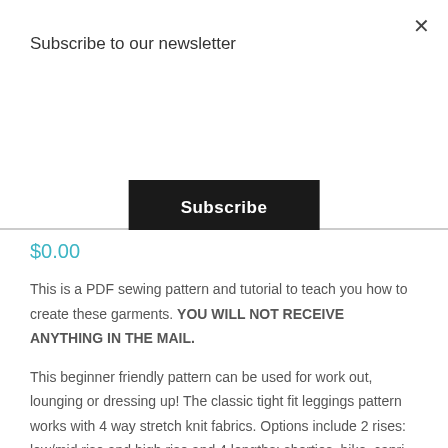Subscribe to our newsletter
Subscribe
$0.00
This is a PDF sewing pattern and tutorial to teach you how to create these garments. YOU WILL NOT RECEIVE ANYTHING IN THE MAIL.
This beginner friendly pattern can be used for work out, lounging or dressing up! The classic tight fit leggings pattern works with 4 way stretch knit fabrics. Options include 2 rises: low/mid rise and high rise and 4 lengths: shorties, bike, capri and